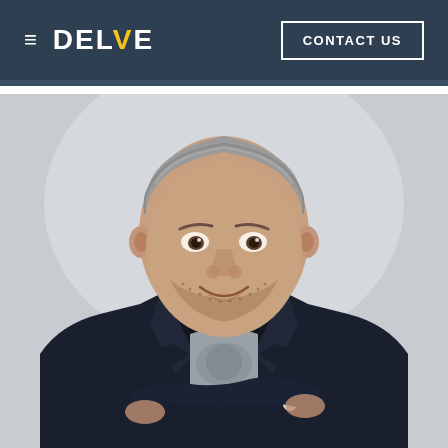≡ DELVE | CONTACT US
[Figure (photo): Professional headshot of a man with short gray hair and a beard, wearing a dark blazer over a gray t-shirt, arms crossed, smiling, against a light gray background.]